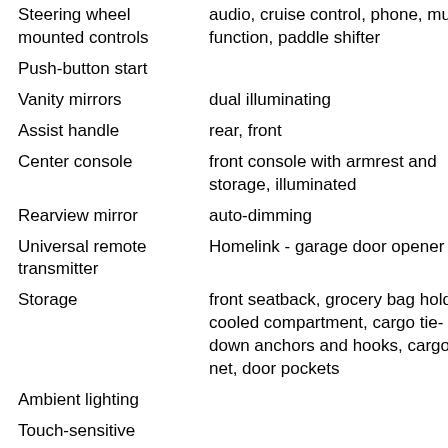| Feature | Description |
| --- | --- |
| Steering wheel mounted controls | audio, cruise control, phone, multi-function, paddle shifter |
| Push-button start |  |
| Vanity mirrors | dual illuminating |
| Assist handle | rear, front |
| Center console | front console with armrest and storage, illuminated |
| Rearview mirror | auto-dimming |
| Universal remote transmitter | Homelink - garage door opener |
| Storage | front seatback, grocery bag holder, cooled compartment, cargo tie-down anchors and hooks, cargo net, door pockets |
| Ambient lighting |  |
| Touch-sensitive |  |